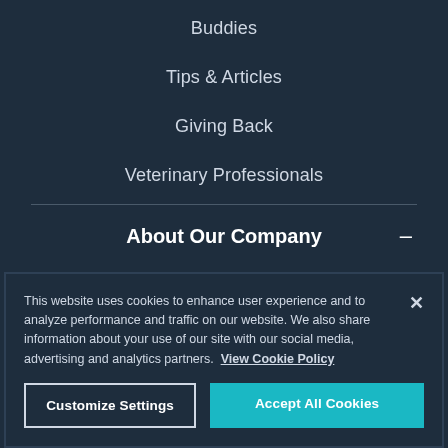Buddies
Tips & Articles
Giving Back
Veterinary Professionals
About Our Company
This website uses cookies to enhance user experience and to analyze performance and traffic on our website. We also share information about your use of our site with our social media, advertising and analytics partners.  View Cookie Policy